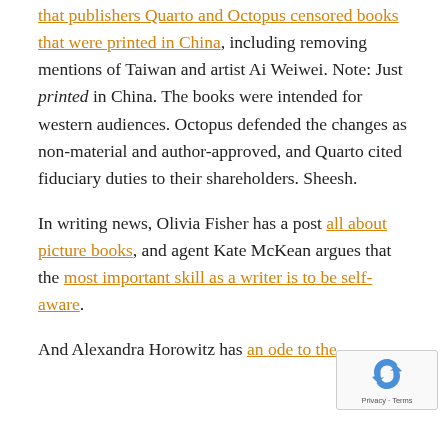that publishers Quarto and Octopus censored books that were printed in China, including removing mentions of Taiwan and artist Ai Weiwei. Note: Just printed in China. The books were intended for western audiences. Octopus defended the changes as non-material and author-approved, and Quarto cited fiduciary duties to their shareholders. Sheesh.
In writing news, Olivia Fisher has a post all about picture books, and agent Kate McKean argues that the most important skill as a writer is to be self-aware.
And Alexandra Horowitz has an ode to the
[Figure (other): reCAPTCHA privacy widget in bottom-right corner showing the recycling arrows logo and 'Privacy - Terms' text]